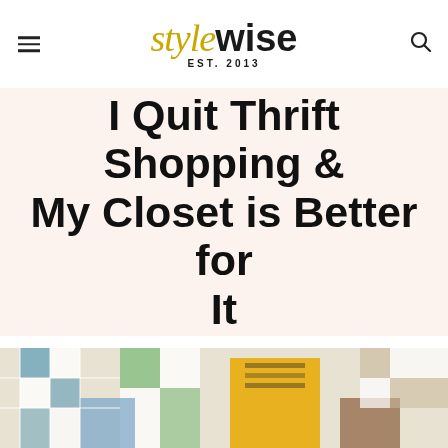stylewise EST. 2013
I Quit Thrift Shopping & My Closet is Better for It
[Figure (photo): Flat lay photo showing a yellow blazer over a striped top, jeans, and leather accessories laid out on a patchwork quilt background]